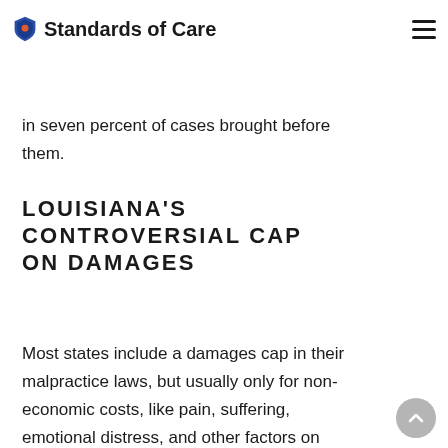Standards of Care
a trial as evidence. Since 2000 the medical review panels have only sided with plaintiffs in seven percent of cases brought before them.
LOUISIANA'S CONTROVERSIAL CAP ON DAMAGES
Most states include a damages cap in their malpractice laws, but usually only for non-economic costs, like pain, suffering, emotional distress, and other factors on which it is impossible to place a price. Most of these states only limit these types of damages, but allow lawyers to seek as much